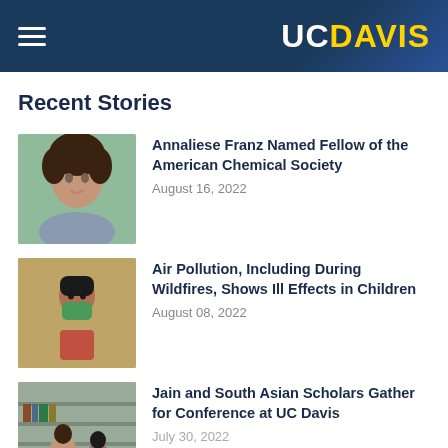UC Davis
Recent Stories
[Figure (photo): Portrait photo of Annaliese Franz, a woman with curly dark hair]
Annaliese Franz Named Fellow of the American Chemical Society
August 16, 2022
[Figure (photo): A child wearing a green face mask outdoors in smoky conditions]
Air Pollution, Including During Wildfires, Shows Ill Effects in Children
August 08, 2022
[Figure (photo): People gathered at a conference room or library setting]
Jain and South Asian Scholars Gather for Conference at UC Davis
July 30, 2022